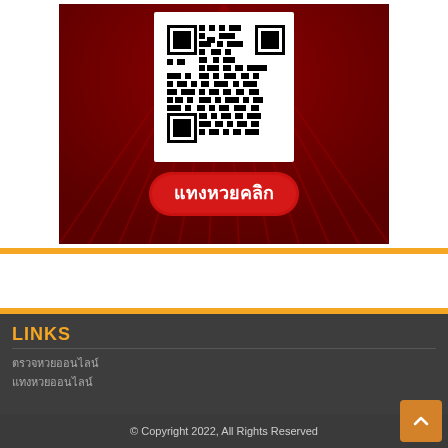[Figure (other): Red curtain background with QR code and Thai text button 'แทงหวยคลิก' (lottery click)]
LINKS
ตรวจหวยออนไลน์
แทงหวยออนไลน์
© Copyright 2022, All Rights Reserved